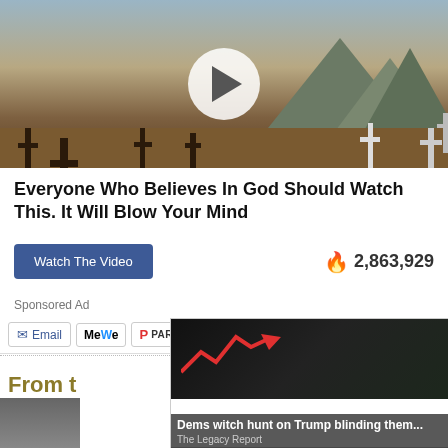[Figure (screenshot): Video thumbnail showing a cemetery with crosses against a desert/mountain backdrop, with a white play button circle in the center]
Everyone Who Believes In God Should Watch This. It Will Blow Your Mind
Watch The Video   🔥 2,863,929
Sponsored Ad
Email  MeWe  PARLER  Tweet  Share  17
sponsored content
From t
by ZergNet
[Figure (screenshot): Popup overlay with two news cards: 'Dems witch hunt on Trump blinding them... - The Legacy Report' and 'Dems Raid Mar-A-Lago when They Should b... - Infected', with an X close button]
[Figure (photo): Two thumbnail images at bottom row]